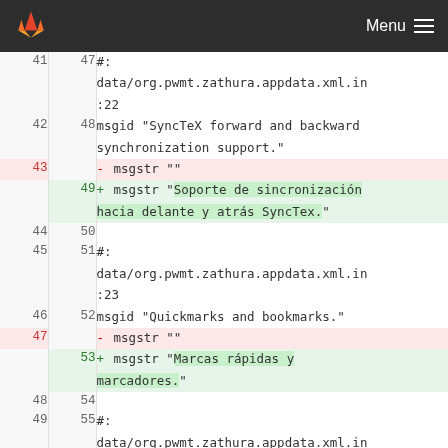GitLab — Menu
| old | new | code |
| --- | --- | --- |
| 41 | 47 | #:
data/org.pwmt.zathura.appdata.xml.in
:22 |
| 42 | 48 | msgid "SyncTeX forward and backward
synchronization support." |
| 43 |  | - msgstr "" |
|  | 49 | + msgstr "Soporte de sincronización
hacia delante y atrás SyncTex." |
| 44 | 50 |  |
| 45 | 51 | #:
data/org.pwmt.zathura.appdata.xml.in
:23 |
| 46 | 52 | msgid "Quickmarks and bookmarks." |
| 47 |  | - msgstr "" |
|  | 53 | + msgstr "Marcas rápidas y
marcadores." |
| 48 | 54 |  |
| 49 | 55 | #:
data/org.pwmt.zathura.appdata.xml.in
:24 |
| 50 | 56 | msgid "Automatic document... |